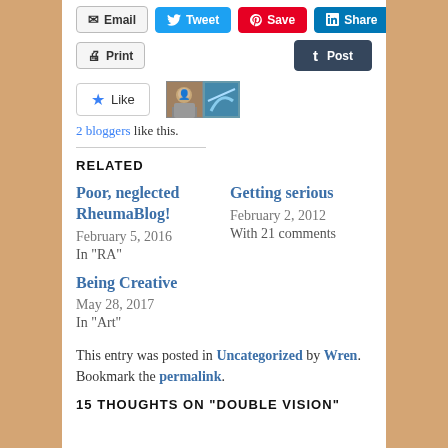[Figure (screenshot): Social share buttons row 1: Email, Tweet, Save, Share (LinkedIn)]
[Figure (screenshot): Social share buttons row 2: Print (left), Post/Tumblr (right)]
[Figure (screenshot): Like button with two blogger avatars]
2 bloggers like this.
RELATED
Poor, neglected RheumaBlog!
February 5, 2016
In "RA"
Getting serious
February 2, 2012
With 21 comments
Being Creative
May 28, 2017
In "Art"
This entry was posted in Uncategorized by Wren. Bookmark the permalink.
15 THOUGHTS ON "DOUBLE VISION"